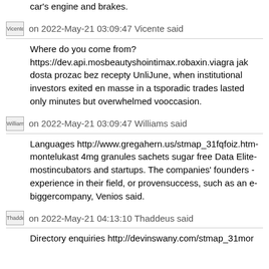car's engine and brakes.
Vicente  on 2022-May-21 03:09:47 Vicente said
Where do you come from? https://dev.api.mosbeautysh... intimax.robaxin.viagra jak dosta prozac bez recepty Unli... June, when institutional investors exited en masse in a t... sporadic trades lasted only minutes but overwhelmed vo... occasion.
Williams  on 2022-May-21 03:09:47 Williams said
Languages http://www.gregahern.us/stmap_31fqfoiz.htm... montelukast 4mg granules sachets sugar free Data Elite... mostincubators and startups. The companies' founders ... experience in their field, or provensuccess, such as an e... biggercompany, Venios said.
Thaddeus  on 2022-May-21 04:13:10 Thaddeus said
Directory enquiries http://devinswany.com/stmap_31mor...